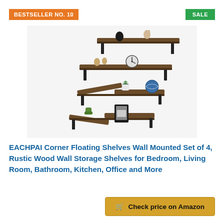BESTSELLER NO. 10
SALE
[Figure (photo): Four rustic wood corner floating shelves wall mounted, shown staggered on a wall with decorative items including figurines, a clock, a plant, a globe, a cactus, and a photo frame.]
EACHPAI Corner Floating Shelves Wall Mounted Set of 4, Rustic Wood Wall Storage Shelves for Bedroom, Living Room, Bathroom, Kitchen, Office and More
Check price on Amazon